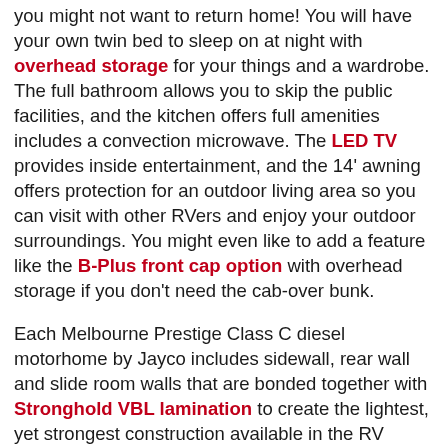you might not want to return home! You will have your own twin bed to sleep on at night with overhead storage for your things and a wardrobe. The full bathroom allows you to skip the public facilities, and the kitchen offers full amenities includes a convection microwave. The LED TV provides inside entertainment, and the 14' awning offers protection for an outdoor living area so you can visit with other RVers and enjoy your outdoor surroundings. You might even like to add a feature like the B-Plus front cap option with overhead storage if you don't need the cab-over bunk.
Each Melbourne Prestige Class C diesel motorhome by Jayco includes sidewall, rear wall and slide room walls that are bonded together with Stronghold VBL lamination to create the lightest, yet strongest construction available in the RV industry. There is also a one-piece, seamless front cap that resists wear and tear from years on the